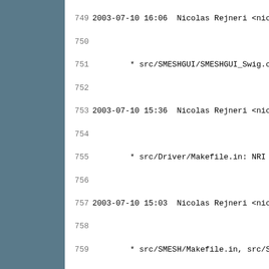Source code log/changelog lines 749-780
749 2003-07-10 16:06  Nicolas Rejneri <nico...
750
751         * src/SMESHGUI/SMESHGUI_Swig.cx...
752
753 2003-07-10 15:36  Nicolas Rejneri <nico...
754
755         * src/Driver/Makefile.in: NRI :
756
757 2003-07-10 15:03  Nicolas Rejneri <nico...
758
759         * src/SMESH/Makefile.in, src/SME...
760           idl/SMESH_BasicHypothesis.idl,...
761           idl/SMESH_Hypothesis.idl, idl....
762           adm_local/unix/make_commence....
763
764 2003-07-10 14:47  Nicolas Rejneri <nico...
765
766         * configure.in.base: NRI : Merge...
767
768 2003-07-10 14:31  Nicolas Rejneri <nico...
769
770         * src/Driver/Makefile.in: NRI :
771
772 2003-07-10 13:35  Yves Fricaud <yves.fri...
773
774         * src/: SMESH_I/Makefile.in, SME...
775           SMESH_I/SMESH_1D_Algo_i.hxx, ...
776           SMESH_I/SMESH_2D_Algo_i.hxx, ...
777           SMESH_I/SMESH_3D_Algo_i.hxx, ...
778           SMESH_I/SMESH_Algo_i.hxx, SME...
779           SMESH_I/SMESH_Gen_i.hxx, SMESH...
780           SMESH_I/SMESH_Hexa_3D_i.hxx, ...